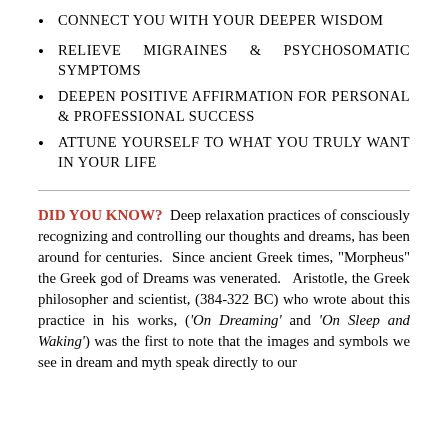CONNECT YOU WITH YOUR DEEPER WISDOM
RELIEVE MIGRAINES & PSYCHOSOMATIC SYMPTOMS
DEEPEN POSITIVE AFFIRMATION FOR PERSONAL & PROFESSIONAL SUCCESS
ATTUNE YOURSELF TO WHAT YOU TRULY WANT IN YOUR LIFE
DID YOU KNOW? Deep relaxation practices of consciously recognizing and controlling our thoughts and dreams, has been around for centuries. Since ancient Greek times, "Morpheus" the Greek god of Dreams was venerated. Aristotle, the Greek philosopher and scientist, (384-322 BC) who wrote about this practice in his works, ('On Dreaming' and 'On Sleep and Waking') was the first to note that the images and symbols we see in dream and myth speak directly to our